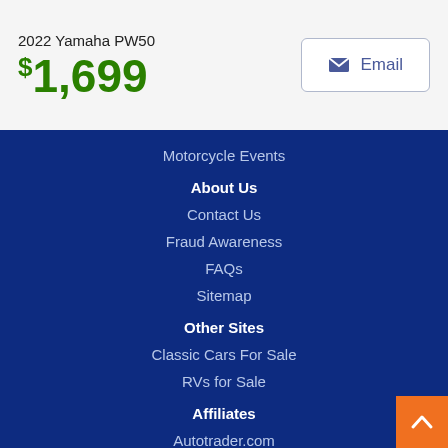2022 Yamaha PW50
$1,699
Email
Motorcycle Events
About Us
Contact Us
Fraud Awareness
FAQs
Sitemap
Other Sites
Classic Cars For Sale
RVs for Sale
Affiliates
Autotrader.com
Buy Here Pay Here Center